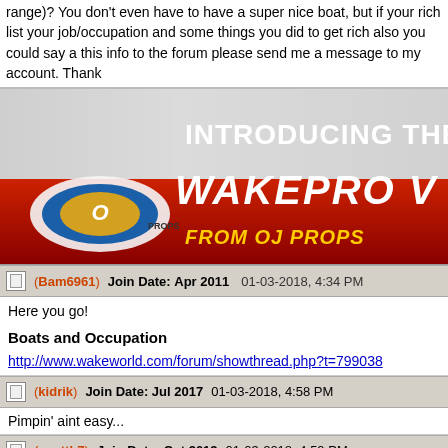range)? You don't even have to have a super nice boat, but if your rich list your job/occupation and some things you did to get rich also you could say a this info to the forum please send me a message to my account. Thank
[Figure (screenshot): Advertisement banner for OJ Props WakePro product - red and grey banner with text 'INTRODUCING THE ALL N... WAKEPRO V... FROM OJ PROPS' with OJ Props logo]
(Bam6961)   Join Date: Apr 2011   01-03-2018, 4:34 PM
Here you go!
Boats and Occupation
http://www.wakeworld.com/forum/showthread.php?t=799038
(kidrik)   Join Date: Jul 2017   01-03-2018, 4:58 PM
Pimpin' aint easy...
(scottb7)   Join Date: Oct 2012   01-03-2018, 4:59 PM
Good job helping Jake out.
(kidrik)   Join Date: Jul 2017   01-03-2018, 5:38 PM
It's called a sense of humor... Bam gave the perfect response so I thoug
(dougr)   Join Date: Dec 2009   01-03-2018, 6:08 PM